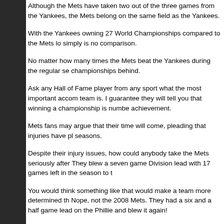Although the Mets have taken two out of the three games from the Yankees, the Mets belong on the same field as the Yankees.
With the Yankees owning 27 World Championships compared to the Mets lo simply is no comparison.
No matter how many times the Mets beat the Yankees during the regular se championships behind.
Ask any Hall of Fame player from any sport what the most important accom team is. I guarantee they will tell you that winning a championship is numbe achievement.
Mets fans may argue that their time will come, pleading that injuries have pl seasons.
Despite their injury issues, how could anybody take the Mets seriously after They blew a seven game Division lead with 17 games left in the season to t
You would think something like that would make a team more determined th Nope, not the 2008 Mets. They had a six and a half game lead on the Phillie and blew it again!
In back-to-back years, they were denied the playoffs on the last day of the s
Sure, the Yankees missed the playoffs in 2008.
Does anybody remember what happened in 2009?